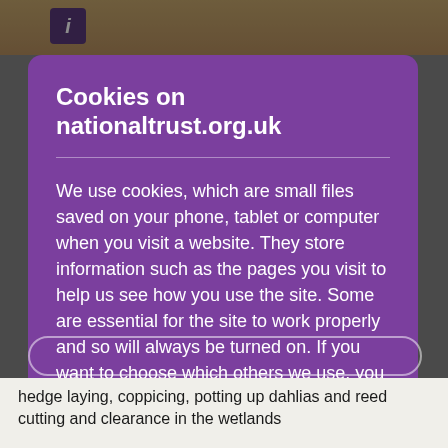[Figure (screenshot): Background webpage content partially visible behind cookie consent modal, showing a brown/tan header image and text about hedge laying, coppicing, potting up dahlias and reed cutting and clearance in the wetlands]
Cookies on nationaltrust.org.uk
We use cookies, which are small files saved on your phone, tablet or computer when you visit a website. They store information such as the pages you visit to help us see how you use the site. Some are essential for the site to work properly and so will always be turned on. If you want to choose which others we use, you can do so through 'Manage cookies'.
Accept all cookies
hedge laying, coppicing, potting up dahlias and reed cutting and clearance in the wetlands